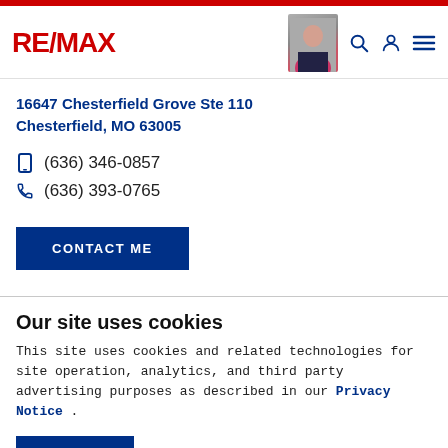RE/MAX
16647 Chesterfield Grove Ste 110
Chesterfield, MO 63005
(636) 346-0857
(636) 393-0765
CONTACT ME
Our site uses cookies
This site uses cookies and related technologies for site operation, analytics, and third party advertising purposes as described in our Privacy Notice .
ACCEPT